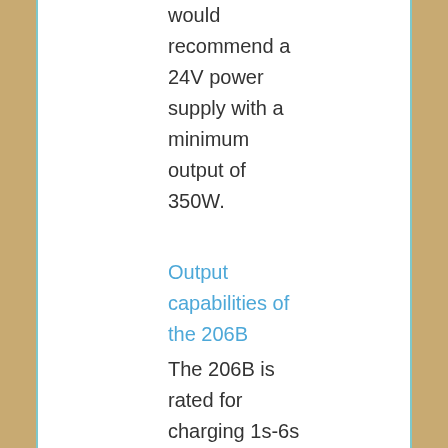would recommend a 24V power supply with a minimum output of 350W.
Output capabilities of the 206B
The 206B is rated for charging 1s-6s lipos at up to 20A or 300W, whichever comes first. Below is a